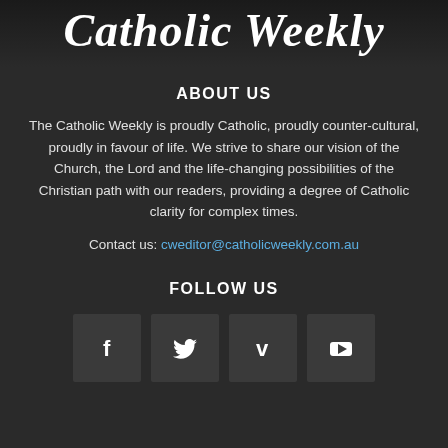Catholic Weekly
ABOUT US
The Catholic Weekly is proudly Catholic, proudly counter-cultural, proudly in favour of life. We strive to share our vision of the Church, the Lord and the life-changing possibilities of the Christian path with our readers, providing a degree of Catholic clarity for complex times.
Contact us: cweditor@catholicweekly.com.au
FOLLOW US
[Figure (infographic): Four social media icon buttons: Facebook (f), Twitter (bird), Vimeo (V), YouTube (play button)]